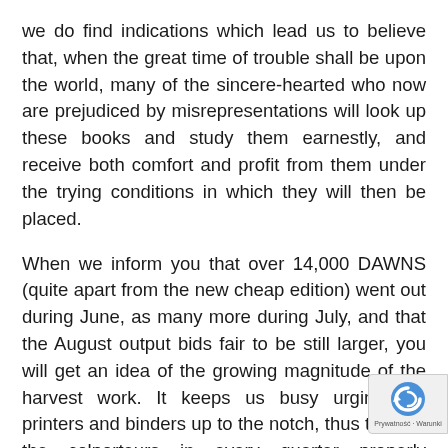we do find indications which lead us to believe that, when the great time of trouble shall be upon the world, many of the sincere-hearted who now are prejudiced by misrepresentations will look up these books and study them earnestly, and receive both comfort and profit from them under the trying conditions in which they will then be placed.
When we inform you that over 14,000 DAWNS (quite apart from the new cheap edition) went out during June, as many more during July, and that the August output bids fair to be still larger, you will get an idea of the growing magnitude of the harvest work. It keeps us busy urging our printers and binders up to the notch, thus to keep the colporteurs in every quarter properly supplied; and all hands connected with the service here are endeavoring to do with their might for the